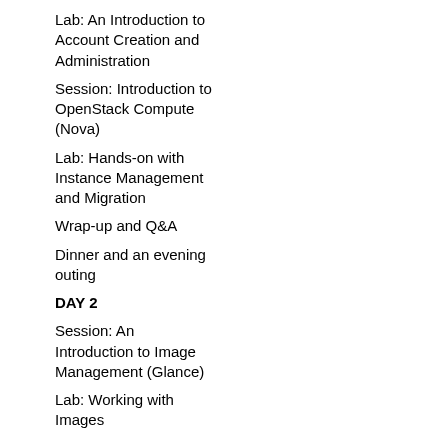Lab: An Introduction to Account Creation and Administration
Session: Introduction to OpenStack Compute (Nova)
Lab: Hands-on with Instance Management and Migration
Wrap-up and Q&A
Dinner and an evening outing
DAY 2
Session: An Introduction to Image Management (Glance)
Lab: Working with Images